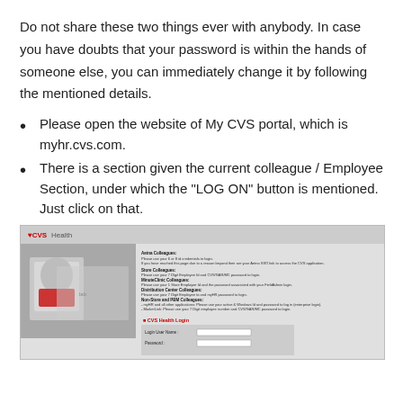Do not share these two things ever with anybody. In case you have doubts that your password is within the hands of someone else, you can immediately change it by following the mentioned details.
Please open the website of My CVS portal, which is myhr.cvs.com.
There is a section given the current colleague / Employee Section, under which the "LOG ON" button is mentioned. Just click on that.
[Figure (screenshot): Screenshot of the CVS Health employee login portal (myhr.cvs.com) showing the CVSHealth logo, a photo of a lab worker, login instructions for different colleague types, and a CVS Health Login form with Username and Password fields.]